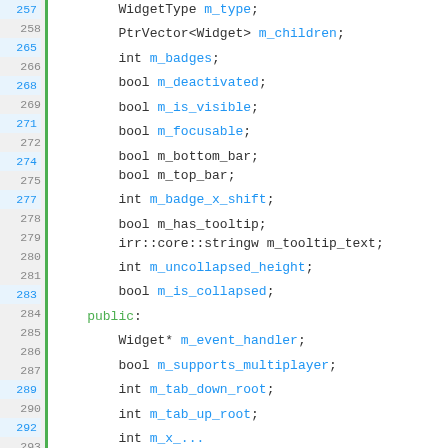[Figure (screenshot): Source code screenshot showing C++ class member variable declarations with line numbers 257-322. Lines include WidgetType m_type, PtrVector<Widget> m_children, int m_badges, bool m_deactivated, bool m_is_visible, bool m_focusable, bool m_bottom_bar, bool m_top_bar, int m_badge_x_shift, bool m_has_tooltip, irr::core::stringw m_tooltip_text, int m_uncollapsed_height, bool m_is_collapsed, public: section, Widget* m_event_handler, bool m_supports_multiplayer, int m_tab_down_root, int m_tab_up_root, and partial int m_x...]